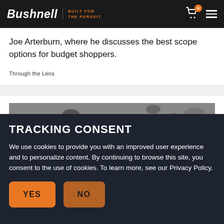Bushnell | BUILT FOR THE PURSUIT
Joe Arterburn, where he discusses the best scope options for budget shoppers.
Through the Lens
[Figure (photo): Partial view of a camouflage-patterned image, partially obscured by cookie consent overlay]
TRACKING CONSENT
We use cookies to provide you with an improved user experience and to personalize content. By continuing to browse this site, you consent to the use of cookies. To learn more, see our Privacy Policy.
YES
NO